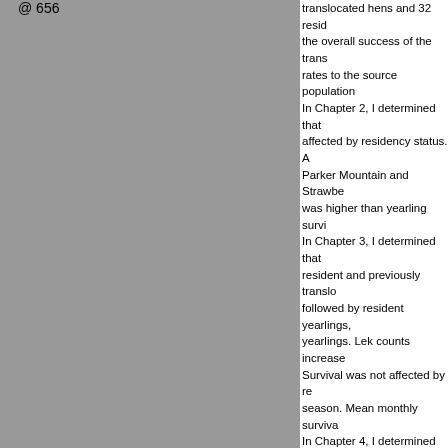[Figure (photo): Gray placeholder image filling the left column, with text '@ 656' visible at top left]
translocated hens and 32 resid... the overall success of the trans... rates to the source population... In Chapter 2, I determined that... affected by residency status. A... Parker Mountain and Strawber... was higher than yearling survi... In Chapter 3, I determined that... resident and previously translo... followed by resident yearlings,... yearlings. Lek counts increase... Survival was not affected by re... season. Mean monthly surviva... In Chapter 4, I determined that... exhibited similar seasonal mov... range size of resident and tran... translocated hens had smaller... Despite landscape level differe... hens assimilated to the popula... translocation was successful, t... estimates suggest that factors... anthropogenic influences may...
Checksum
9f1d9132d05616e956fe152ba...
Recommended Citation